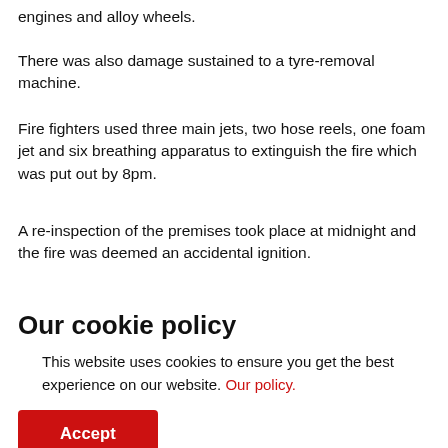engines and alloy wheels.
There was also damage sustained to a tyre-removal machine.
Fire fighters used three main jets, two hose reels, one foam jet and six breathing apparatus to extinguish the fire which was put out by 8pm.
A re-inspection of the premises took place at midnight and the fire was deemed an accidental ignition.
Our cookie policy
This website uses cookies to ensure you get the best experience on our website. Our policy.